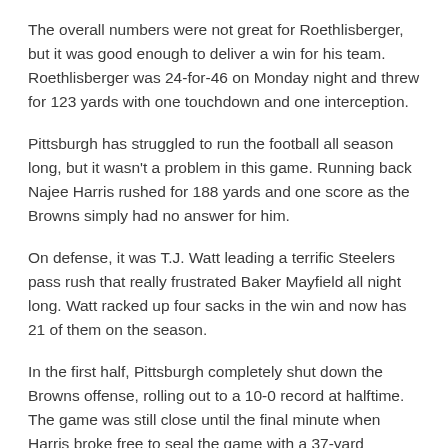The overall numbers were not great for Roethlisberger, but it was good enough to deliver a win for his team. Roethlisberger was 24-for-46 on Monday night and threw for 123 yards with one touchdown and one interception.
Pittsburgh has struggled to run the football all season long, but it wasn't a problem in this game. Running back Najee Harris rushed for 188 yards and one score as the Browns simply had no answer for him.
On defense, it was T.J. Watt leading a terrific Steelers pass rush that really frustrated Baker Mayfield all night long. Watt racked up four sacks in the win and now has 21 of them on the season.
In the first half, Pittsburgh completely shut down the Browns offense, rolling out to a 10-0 record at halftime. The game was still close until the final minute when Harris broke free to seal the game with a 37-yard touchdown run.